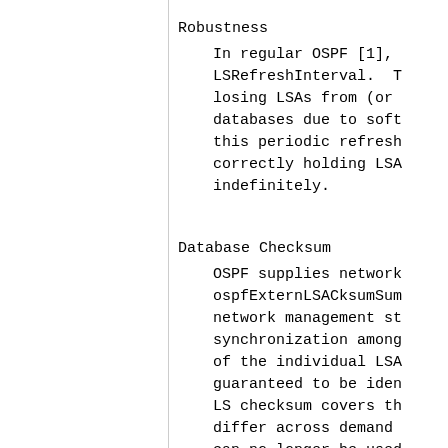Robustness
In regular OSPF [1], LSRefreshInterval. T losing LSAs from (or databases due to soft this periodic refresh correctly holding LSA indefinitely.
Database Checksum
OSPF supplies network ospfExternLSACksumSum network management st synchronization among of the individual LSA guaranteed to be iden LS checksum covers th differ across demand can no longer be used networks containing